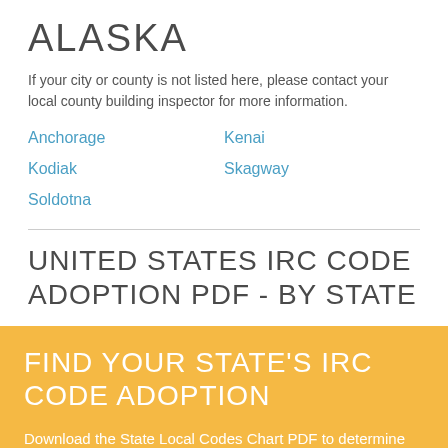ALASKA
If your city or county is not listed here, please contact your local county building inspector for more information.
Anchorage
Kenai
Kodiak
Skagway
Soldotna
UNITED STATES IRC CODE ADOPTION PDF - BY STATE
FIND YOUR STATE'S IRC CODE ADOPTION
Download the State Local Codes Chart PDF to determine which International Residential Code